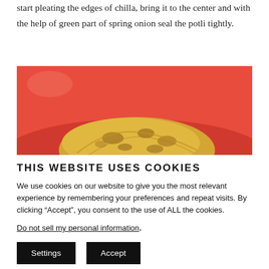start pleating the edges of chilla, bring it to the center and with the help of green part of spring onion seal the potli tightly.
[Figure (photo): A golden-brown stuffed chilla or potli dumpling on a red/orange plate, photographed from above, partially visible at the bottom of the frame.]
THIS WEBSITE USES COOKIES
We use cookies on our website to give you the most relevant experience by remembering your preferences and repeat visits. By clicking “Accept”, you consent to the use of ALL the cookies.
Do not sell my personal information.
Settings  Accept